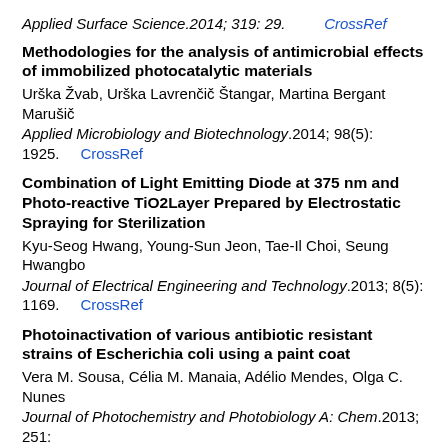Applied Surface Science.2014; 319: 29.    CrossRef
Methodologies for the analysis of antimicrobial effects of immobilized photocatalytic materials
Urška Žvab, Urška Lavrenčič Štangar, Martina Bergant Marušič
Applied Microbiology and Biotechnology.2014; 98(5): 1925.    CrossRef
Combination of Light Emitting Diode at 375 nm and Photo-reactive TiO2Layer Prepared by Electrostatic Spraying for Sterilization
Kyu-Seog Hwang, Young-Sun Jeon, Tae-Il Choi, Seung Hwangbo
Journal of Electrical Engineering and Technology.2013; 8(5): 1169.    CrossRef
Photoinactivation of various antibiotic resistant strains of Escherichia coli using a paint coat
Vera M. Sousa, Célia M. Manaia, Adélio Mendes, Olga C. Nunes
Journal of Photochemistry and Photobiology A: Chem.2013; 251: 148.    CrossRef
Photocatalytic Activity of Reactively Sputtered Titania Coatings Deposited Using a Full Face Erosion Magnetron